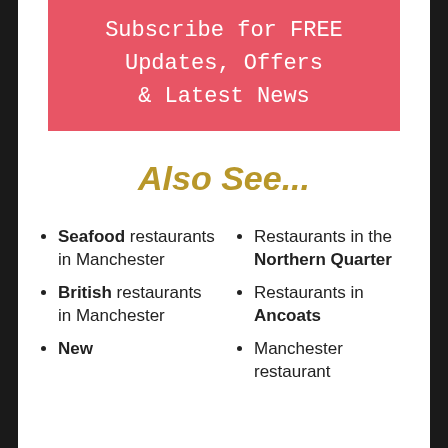[Figure (infographic): Red banner with white monospace text reading 'Subscribe for FREE Updates, Offers & Latest News']
Also See...
Seafood restaurants in Manchester
British restaurants in Manchester
New
Restaurants in the Northern Quarter
Restaurants in Ancoats
Manchester restaurant